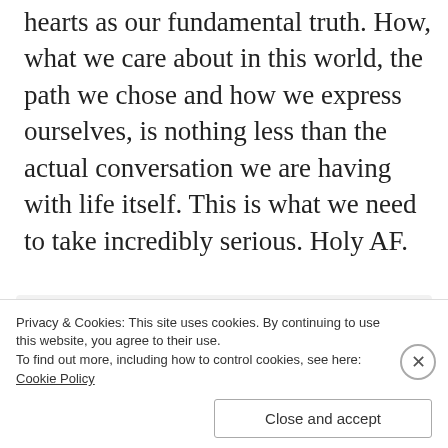hearts as our fundamental truth. How, what we care about in this world, the path we chose and how we express ourselves, is nothing less than the actual conversation we are having with life itself. This is what we need to take incredibly serious. Holy AF.
[Figure (other): Advertisement box with bold headline 'Getting your team on the same page is easy. And free.' and three circular avatar photos plus a blue plus-sign circle]
Privacy & Cookies: This site uses cookies. By continuing to use this website, you agree to their use.
To find out more, including how to control cookies, see here: Cookie Policy
Close and accept